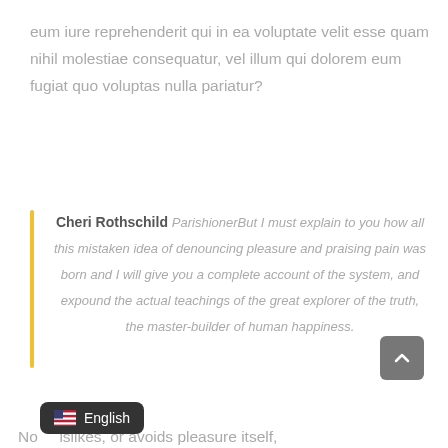eum iure reprehenderit qui in ea voluptate velit esse quam nihil molestiae consequatur, vel illum qui dolorem eum fugiat quo voluptas nulla pariatur?
Cheri Rothschild ParishionerBut I must explain to you how all this mistaken idea of denouncing pleasure and praising pain was born and I will give you a complete account of the system, and expound the actual teachings of the great explorer of the truth, the master-builder of human happiness.
No... dislikes, or avoids pleasure itself,